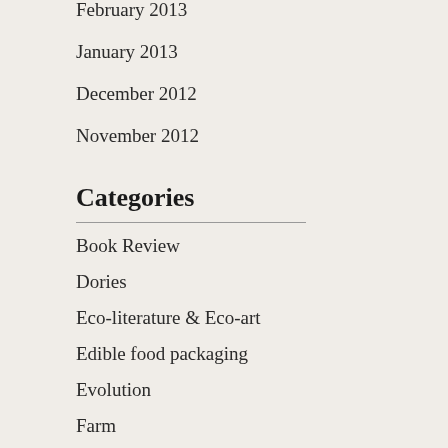February 2013
January 2013
December 2012
November 2012
Categories
Book Review
Dories
Eco-literature & Eco-art
Edible food packaging
Evolution
Farm
Fiction
Float
Hurricane Sandy
Jellyfish
Litter